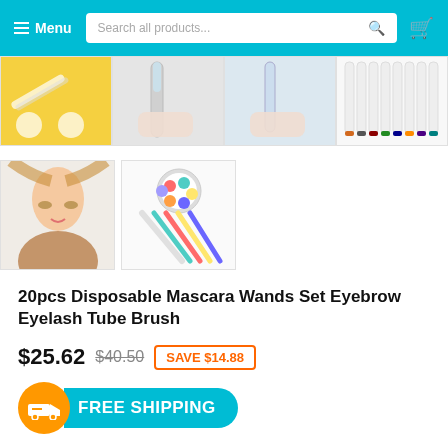Menu | Search all products... | Cart
[Figure (photo): Product thumbnail images - row 1: yellow background with eyeliner product, hand holding clear tube brush, hand holding clear brush, set of white wands with colored tips]
[Figure (photo): Product thumbnail images - row 2: woman model with makeup, colorful set of glitter mascara wands]
20pcs Disposable Mascara Wands Set Eyebrow Eyelash Tube Brush
$25.62 $40.50 SAVE $14.88
FREE SHIPPING